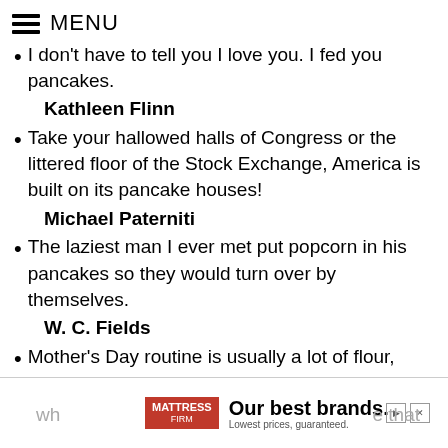MENU
I don't have to tell you I love you. I fed you pancakes.
Kathleen Flinn
Take your hallowed halls of Congress or the littered floor of the Stock Exchange, America is built on its pancake houses!
Michael Paterniti
The laziest man I ever met put popcorn in his pancakes so they would turn over by themselves.
W. C. Fields
Mother's Day routine is usually a lot of flour,
[Figure (other): Mattress Firm advertisement banner: red logo on left reading MATTRESS FIRM, headline 'Our best brands.' and subtext 'Lowest prices, guaranteed.']